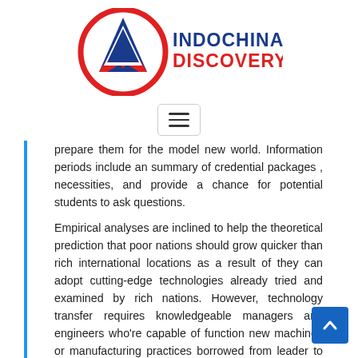[Figure (logo): Indochina Discovery logo with red circle, blue/red mountain arrow icon, and text 'INDOCHINA DISCOVERY' in blue and red]
[Figure (other): Hamburger menu button with three horizontal lines, bordered rectangle]
prepare them for the model new world. Information periods include an summary of credential packages , necessities, and provide a chance for potential students to ask questions.
Empirical analyses are inclined to help the theoretical prediction that poor nations should grow quicker than rich international locations as a result of they can adopt cutting-edge technologies already tried and examined by rich nations. However, technology transfer requires knowledgeable managers and engineers who're capable of function new machines or manufacturing practices borrowed from leader to have the ability to shut the hole by way of imitation.